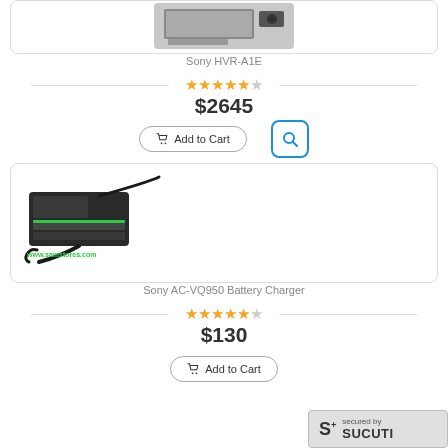[Figure (photo): Partial image of Sony HVR-A1E camcorder (cropped at top)]
Sony HVR-A1E
[Figure (other): 4.5 out of 5 star rating]
$2645
[Figure (other): Add to Cart button and search icon button]
[Figure (photo): Sony AC-VQ950 Battery Charger product photo with www.samstores.com watermark]
Sony AC-VQ950 Battery Charger
[Figure (other): 4.5 out of 5 star rating]
$130
[Figure (other): Add to Cart button and Sucuri secured badge]